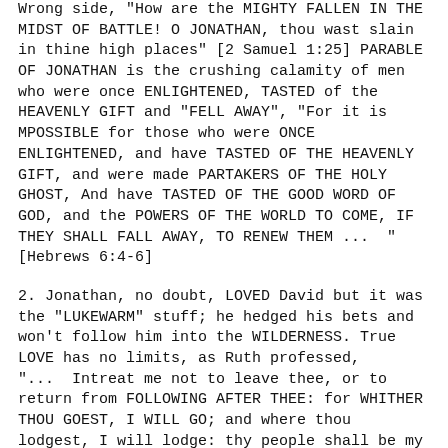Wrong side, "How are the MIGHTY FALLEN IN THE MIDST OF BATTLE! O JONATHAN, thou wast slain in thine high places" [2 Samuel 1:25] PARABLE OF JONATHAN is the crushing calamity of men who were once ENLIGHTENED, TASTED of the HEAVENLY GIFT and "FELL AWAY", "For it is MPOSSIBLE for those who were ONCE ENLIGHTENED, and have TASTED OF THE HEAVENLY GIFT, and were made PARTAKERS OF THE HOLY GHOST, And have TASTED OF THE GOOD WORD OF GOD, and the POWERS OF THE WORLD TO COME, IF THEY SHALL FALL AWAY, TO RENEW THEM ...  " [Hebrews 6:4-6]
2. Jonathan, no doubt, LOVED David but it was the "LUKEWARM" stuff; he hedged his bets and won't follow him into the WILDERNESS. True LOVE has no limits, as Ruth professed, "...  Intreat me not to leave thee, or to return from FOLLOWING AFTER THEE: for WHITHER THOU GOEST, I WILL GO; and where thou lodgest, I will lodge: thy people shall be my people,